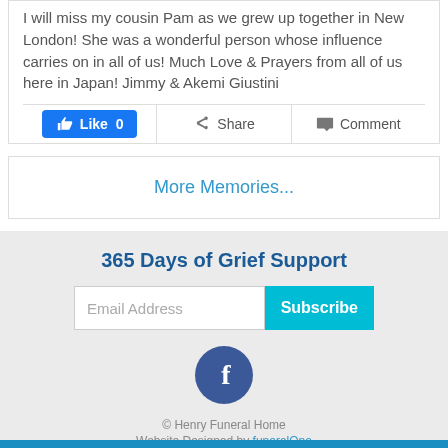I will miss my cousin Pam as we grew up together in New London! She was a wonderful person whose influence carries on in all of us! Much Love & Prayers from all of us here in Japan! Jimmy & Akemi Giustini
Like 0 | Share | Comment
More Memories...
365 Days of Grief Support
Email Address | Subscribe
[Figure (logo): Facebook logo circle icon in dark blue]
© Henry Funeral Home
Website Designed by funeralOne